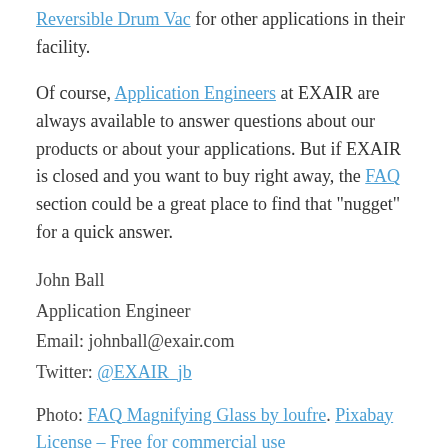Reversible Drum Vac for other applications in their facility.
Of course, Application Engineers at EXAIR are always available to answer questions about our products or about your applications. But if EXAIR is closed and you want to buy right away, the FAQ section could be a great place to find that “nugget” for a quick answer.
John Ball
Application Engineer
Email: johnball@exair.com
Twitter: @EXAIR_jb
Photo: FAQ Magnifying Glass by loufre. Pixabay License – Free for commercial use
SHARE THIS: